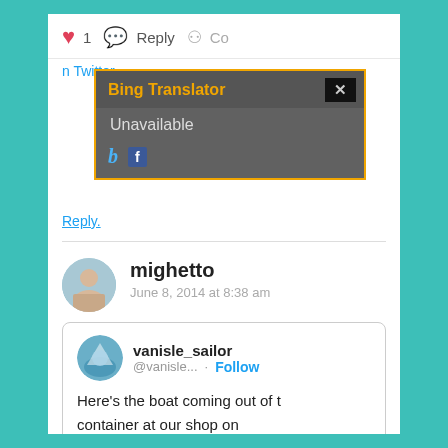[Figure (screenshot): Screenshot of a web page showing a social media comment section with a Bing Translator popup overlay. The popup has an orange border on a dark gray background, showing 'Bing Translator' title in orange, 'Unavailable' message, and Bing and Facebook icons. Below is a comment by 'mighetto' dated June 8, 2014 at 8:38 am, and an embedded tweet from vanisle_sailor with text 'Here's the boat coming out of the container at our shop on Wednesday. #f85SR #trimaré' and a partial photo of shipping containers.]